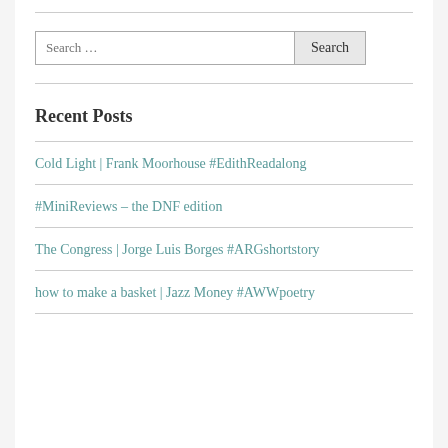Search …
Recent Posts
Cold Light | Frank Moorhouse #EdithReadalong
#MiniReviews – the DNF edition
The Congress | Jorge Luis Borges #ARGshortstory
how to make a basket | Jazz Money #AWWpoetry